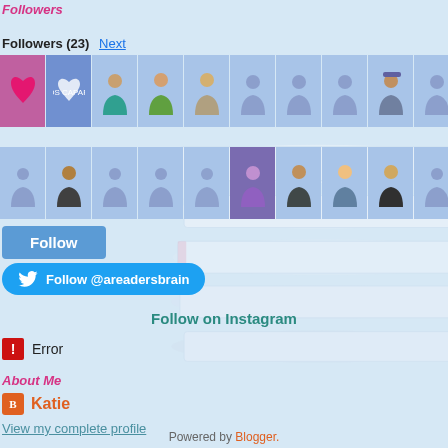Followers
Followers (23) Next
[Figure (screenshot): Grid of 21 follower avatar thumbnails in two rows]
Follow
Follow @areadersbrain
Follow on Instagram
Error
About Me
Katie
View my complete profile
Powered by Blogger.